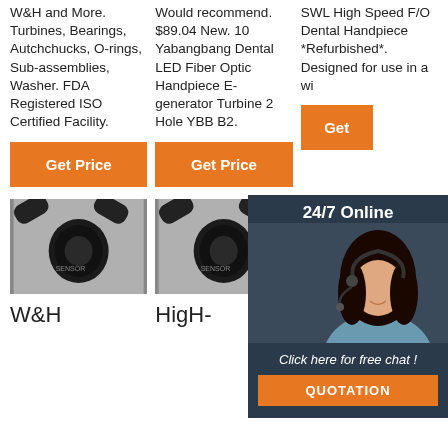W&H and More. Turbines, Bearings, Autchchucks, O-rings, Sub-assemblies, Washer. FDA Registered ISO Certified Facility.
Would recommend. $89.04 New. 10 Yabangbang Dental LED Fiber Optic Handpiece E-generator Turbine 2 Hole YBB B2.
SWL High Speed F/O Dental Handpiece *Refurbished*. Designed for use in a wide dental proced
Get Price
Get Price
Get
[Figure (photo): Close-up photo of a dental handpiece turbine component, black cylindrical part]
[Figure (photo): Close-up photo of a dental handpiece turbine component, black cylindrical part (duplicate)]
[Figure (photo): Dental chair unit in light blue and white]
W&H
HigH-
Review
[Figure (infographic): 24/7 Online chat popup with smiling woman in headset, Click here for free chat, QUOTATION button]